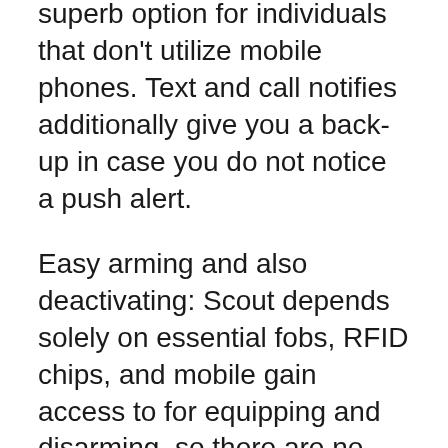superb option for individuals that don't utilize mobile phones. Text and call notifies additionally give you a back-up in case you do not notice a push alert.
Easy arming and also deactivating: Scout depends solely on essential fobs, RFID chips, and mobile gain access to for equipping and disarming, so there are no keypad gain access to codes to remember. (Scout also sells a keypad for individuals aiming to give short-term access to visitors.).
Tools: Scout layouts attractive equipment that covers most safety and security demands. The system works with lots of smart house systems like Amazon.com Alexa, Google Airdots, Z-Wave, and Zig...